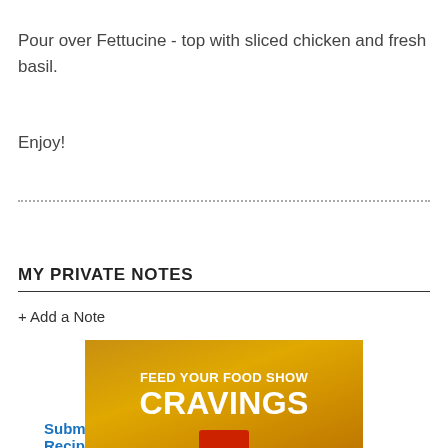Pour over Fettucine - top with sliced chicken and fresh basil.
Enjoy!
Submit a Recipe Correction
MY PRIVATE NOTES
+ Add a Note
[Figure (illustration): Advertisement banner with gold/yellow gradient background. Text reads: FEED YOUR FOOD SHOW CRAVINGS with a red logo element at the bottom.]